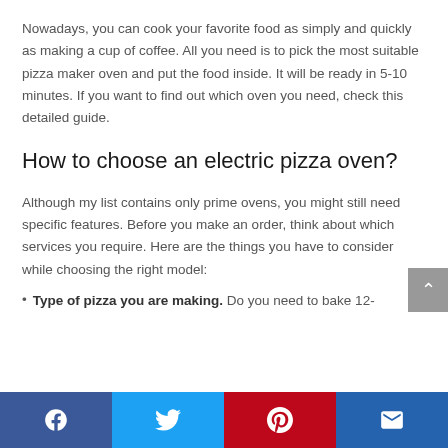Nowadays, you can cook your favorite food as simply and quickly as making a cup of coffee. All you need is to pick the most suitable pizza maker oven and put the food inside. It will be ready in 5-10 minutes. If you want to find out which oven you need, check this detailed guide.
How to choose an electric pizza oven?
Although my list contains only prime ovens, you might still need specific features. Before you make an order, think about which services you require. Here are the things you have to consider while choosing the right model:
Type of pizza you are making. Do you need to bake 12-